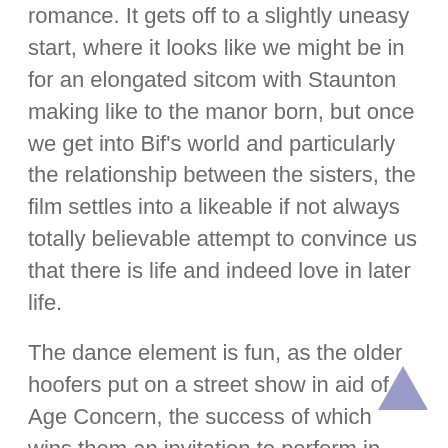romance. It gets off to a slightly uneasy start, where it looks like we might be in for an elongated sitcom with Staunton making like to the manor born, but once we get into Bif's world and particularly the relationship between the sisters, the film settles into a likeable if not always totally believable attempt to convince us that there is life and indeed love in later life.
The dance element is fun, as the older hoofers put on a street show in aid of Age Concern, the success of which wins them an invitation to perform in Rome, where they perform an unlikely full scale song and dance number in which Sandra joins in at the last moment.  I know Staunton is now a veteran of the musical stage but really?
However she and Spall make a convincing pair of late life lovers, dragging their pasts behind them